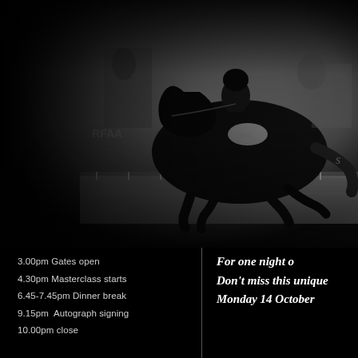[Figure (photo): Black and white photograph of a dressage rider on a dark horse performing at a competition arena, with spectators and arena barriers visible in the background.]
Daydream Equine Art
3.00pm Gates open
4.30pm Masterclass starts
6.45-7.45pm Dinner break
9.15pm  Autograph signing
10.00pm close
For one night o
Don't miss this unique
Monday 14 October